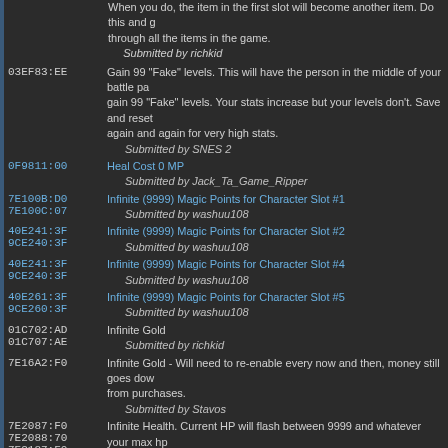When you do, the item in the first slot will become another item. Do this and go through all the items in the game.
Submitted by richkid
03EF83:EE - Gain 99 "Fake" levels. This will have the person in the middle of your battle party gain 99 "Fake" levels. Your stats increase but your levels don't. Save and reset again and again for very high stats. Submitted by SNES 2
0F9811:00 - Heal Cost 0 MP - Submitted by Jack_Ta_Game_Ripper
7E100B:D0 / 7E100C:07 - Infinite (9999) Magic Points for Character Slot #1 - Submitted by washuu108
40E241:3F / 9CE240:3F - Infinite (9999) Magic Points for Character Slot #2 - Submitted by washuu108
40E241:3F / 9CE240:3F - Infinite (9999) Magic Points for Character Slot #4 - Submitted by washuu108
40E261:3F / 9CE260:3F - Infinite (9999) Magic Points for Character Slot #5 - Submitted by washuu108
01C702:AD / 01C707:AE - Infinite Gold - Submitted by richkid
7E16A2:F0 - Infinite Gold - Will need to re-enable every now and then, money still goes down from purchases. Submitted by Stavos
7E2087:F0 / 7E2088:70 / 7E2187:F0 / 7E2188:70 / 7E2007:F0 / 7E2008:70 / 7E2207:F0 / 7E2208:70 / 7E2107:F0 / 7E2108:70 - Infinite Health. Current HP will flash between 9999 and whatever your max hp. Submitted by Stavos
03CAE6:BD - Infinite Hit Points - Submitted by richkid
40E241:3F / 9CE240:3F - Infinite Magic Points for Character Slot #3 - Submitted by washuu108